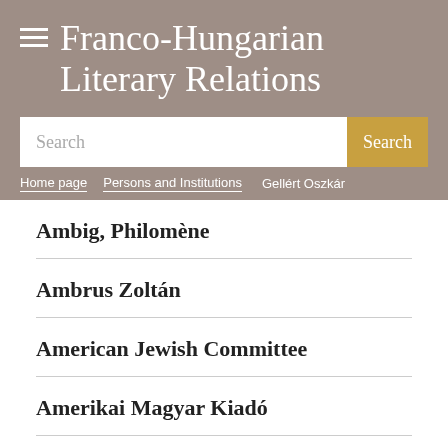Franco-Hungarian Literary Relations
Search
Home page > Persons and Institutions > Gellért Oszkár
Ambig, Philomène
Ambrus Zoltán
American Jewish Committee
Amerikai Magyar Kiadó
Amerikai Magyar Irodalmat...